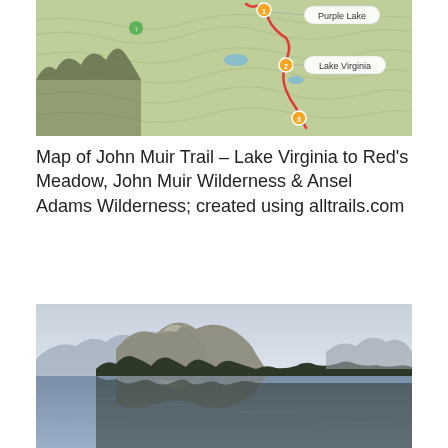[Figure (map): Topographic trail map showing John Muir Trail route from Lake Virginia area, with red trail line, yellow numbered waypoints, and labels for Purple Lake and Lake Virginia on green topographic background]
Map of John Muir Trail – Lake Virginia to Red's Meadow, John Muir Wilderness & Ansel Adams Wilderness; created using alltrails.com
[Figure (photo): Landscape photograph of a calm mountain lake reflecting rocky mountain peaks and forested ridgeline under a pale blue-grey hazy sky]